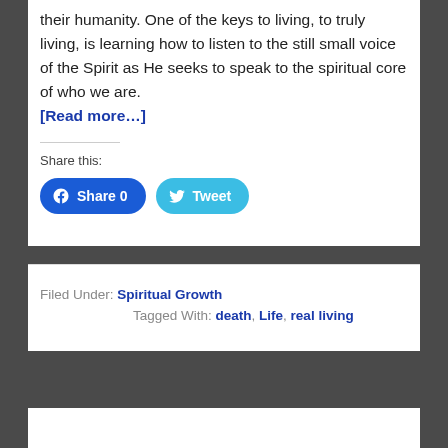their humanity. One of the keys to living, to truly living, is learning how to listen to the still small voice of the Spirit as He seeks to speak to the spiritual core of who we are. [Read more…]
Share this:
[Figure (other): Facebook Share button with count 0 and Twitter Tweet button]
Filed Under: Spiritual Growth
Tagged With: death, Life, real living